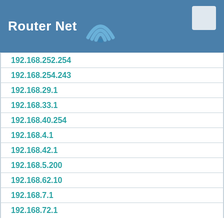Router Net
192.168.252.254
192.168.254.243
192.168.29.1
192.168.33.1
192.168.40.254
192.168.4.1
192.168.42.1
192.168.5.200
192.168.62.10
192.168.7.1
192.168.72.1